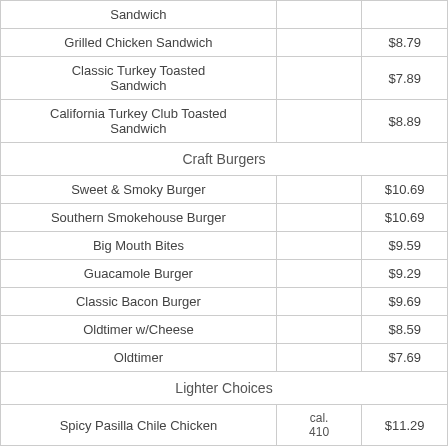| Item | Cal. | Price |
| --- | --- | --- |
| Sandwich |  |  |
| Grilled Chicken Sandwich |  | $8.79 |
| Classic Turkey Toasted Sandwich |  | $7.89 |
| California Turkey Club Toasted Sandwich |  | $8.89 |
| Craft Burgers |  |  |
| Sweet & Smoky Burger |  | $10.69 |
| Southern Smokehouse Burger |  | $10.69 |
| Big Mouth Bites |  | $9.59 |
| Guacamole Burger |  | $9.29 |
| Classic Bacon Burger |  | $9.69 |
| Oldtimer w/Cheese |  | $8.59 |
| Oldtimer |  | $7.69 |
| Lighter Choices |  |  |
| Spicy Pasilla Chile Chicken | cal. 410 | $11.29 |